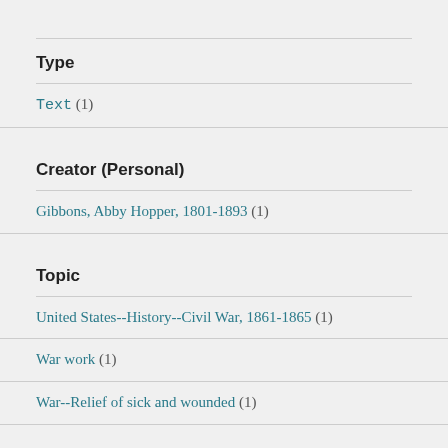Type
Text (1)
Creator (Personal)
Gibbons, Abby Hopper, 1801-1893 (1)
Topic
United States--History--Civil War, 1861-1865 (1)
War work (1)
War--Relief of sick and wounded (1)